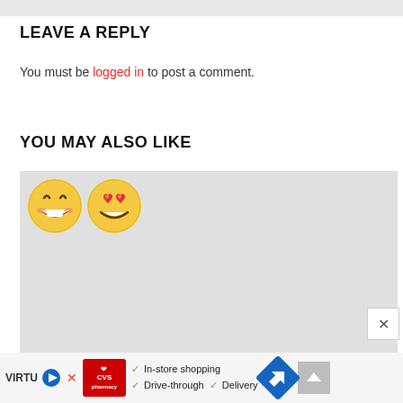LEAVE A REPLY
You must be logged in to post a comment.
YOU MAY ALSO LIKE
[Figure (illustration): Gray placeholder box with two emoji icons (laughing face and heart-eyes face) in the top-left corner, with a close (X) button at the bottom right.]
[Figure (infographic): Advertisement bar at the bottom: CVS Pharmacy logo, checkmarks listing In-store shopping, Drive-through, Delivery; blue diamond arrow navigation icon; gray up-arrow button; VIRTU text and play/X icons on the left.]